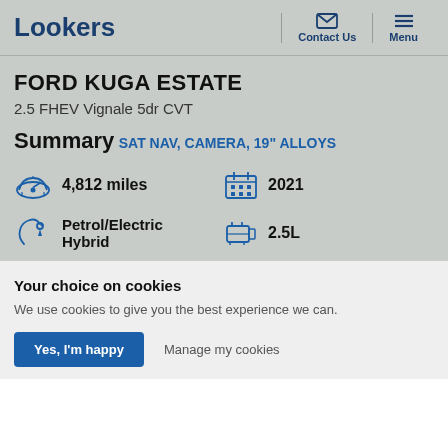Lookers | Contact Us | Menu
FORD KUGA ESTATE
2.5 FHEV Vignale 5dr CVT
Summary
SAT NAV, CAMERA, 19" ALLOYS
4,812 miles
2021
Petrol/Electric Hybrid
2.5L
Your choice on cookies
We use cookies to give you the best experience we can.
Yes, I'm happy | Manage my cookies